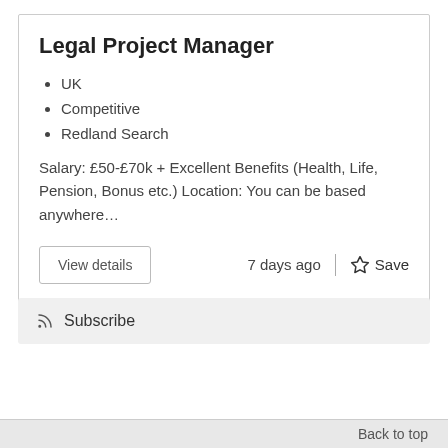Legal Project Manager
UK
Competitive
Redland Search
Salary: £50-£70k + Excellent Benefits (Health, Life, Pension, Bonus etc.) Location: You can be based anywhere…
View details
7 days ago
Save
Subscribe
Back to top